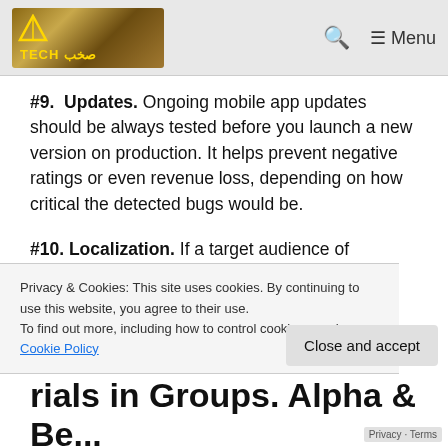Tech [logo] | Search | Menu
#9. Updates. Ongoing mobile app updates should be always tested before you launch a new version on production. It helps prevent negative ratings or even revenue loss, depending on how critical the detected bugs would be.
#10. Localization. If a target audience of your application is not living on the...
Privacy & Cookies: This site uses cookies. By continuing to use this website, you agree to their use. To find out more, including how to control cookies, see here: Cookie Policy
Close and accept
rials in Groups. Alpha & Be... Testing
Privacy · Terms